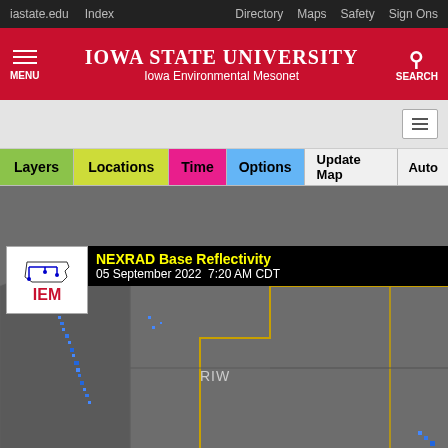iastate.edu   Index   Directory   Maps   Safety   Sign Ons
Iowa State University — Iowa Environmental Mesonet
[Figure (screenshot): Iowa Environmental Mesonet NEXRAD Base Reflectivity map showing 05 September 2022 7:20 AM CDT radar data over the western United States region with toolbar buttons: Layers, Locations, Time, Options, Update Map, Auto]
NEXRAD Base Reflectivity
05 September 2022  7:20 AM CDT